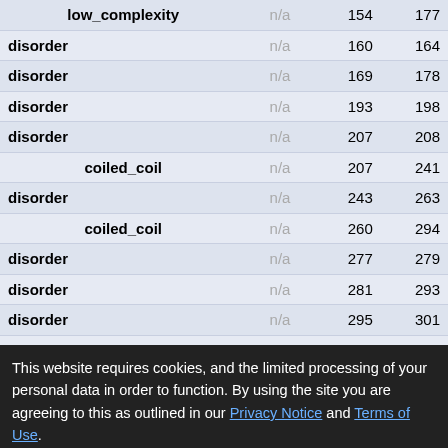| low_complexity | n/a | 154 | 177 |
| disorder | n/a | 160 | 164 |
| disorder | n/a | 169 | 178 |
| disorder | n/a | 193 | 198 |
| disorder | n/a | 207 | 208 |
| coiled_coil | n/a | 207 | 241 |
| disorder | n/a | 243 | 263 |
| coiled_coil | n/a | 260 | 294 |
| disorder | n/a | 277 | 279 |
| disorder | n/a | 281 | 293 |
| disorder | n/a | 295 | 301 |
| coiled_coil | n/a | 305 | 325 |
| disorder | n/a | 311 | 313 |
| disorder | n/a | 315 | 316 |
| disorder | n/a | 319 | 321 |
| disorder | n/a | 323 | 602 |
| low_complexity | n/a | 490 | 507 |
| disorder | n/a | 605 | 758 |
| disorder | n/a | 760 | 915 |
This website requires cookies, and the limited processing of your personal data in order to function. By using the site you are agreeing to this as outlined in our Privacy Notice and Terms of Use.
I agree, dismiss this banner